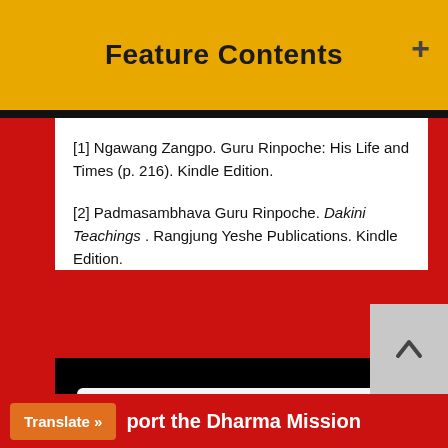Feature Contents
[1] Ngawang Zangpo. Guru Rinpoche: His Life and Times (p. 216). Kindle Edition.
[2] Padmasambhava Guru Rinpoche. Dakini Teachings . Rangjung Yeshe Publications. Kindle Edition.
[Figure (screenshot): Search box with placeholder text 'Search...' and a red Search button on black background]
Translate »port the Dharma Mission